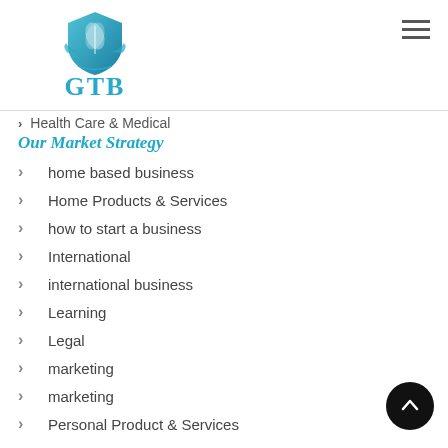[Figure (logo): GTB shield logo with teal/cyan color and leaf motif, with text GTB below]
Health Care & Medical
Our Market Strategy
home based business
Home Products & Services
how to start a business
International
international business
Learning
Legal
marketing
marketing
Personal Product & Services